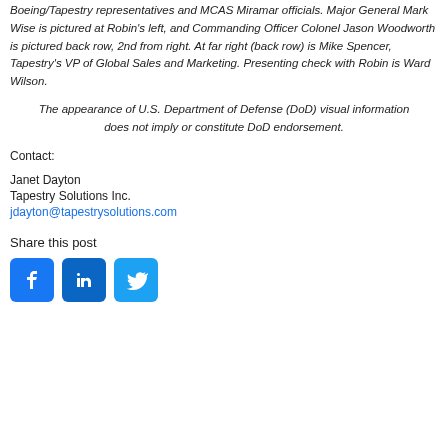Boeing/Tapestry representatives and MCAS Miramar officials. Major General Mark Wise is pictured at Robin's left, and Commanding Officer Colonel Jason Woodworth is pictured back row, 2nd from right. At far right (back row) is Mike Spencer, Tapestry's VP of Global Sales and Marketing. Presenting check with Robin is Ward Wilson.
The appearance of U.S. Department of Defense (DoD) visual information does not imply or constitute DoD endorsement.
Contact:
Janet Dayton
Tapestry Solutions Inc.
jdayton@tapestrysolutions.com
Share this post
[Figure (other): Social media share icons: Facebook, LinkedIn, Twitter]